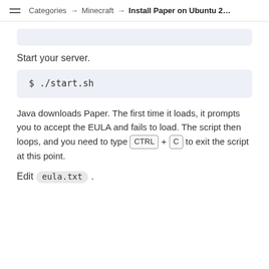Categories → Minecraft → Install Paper on Ubuntu 2…
Start your server.
Java downloads Paper. The first time it loads, it prompts you to accept the EULA and fails to load. The script then loops, and you need to type CTRL + C to exit the script at this point.
Edit eula.txt .